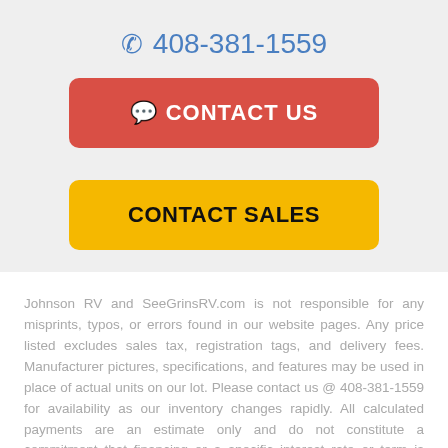408-381-1559
CONTACT US
CONTACT SALES
Johnson RV and SeeGrinsRV.com is not responsible for any misprints, typos, or errors found in our website pages. Any price listed excludes sales tax, registration tags, and delivery fees. Manufacturer pictures, specifications, and features may be used in place of actual units on our lot. Please contact us @ 408-381-1559 for availability as our inventory changes rapidly. All calculated payments are an estimate only and do not constitute a commitment that financing or a specific interest rate or term is available.